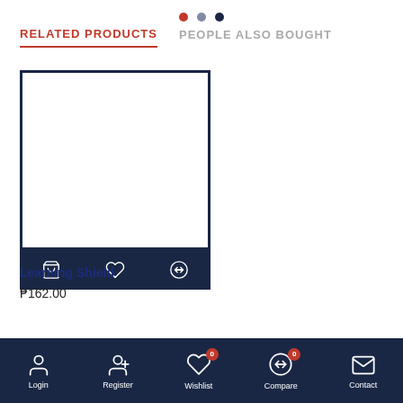[Figure (screenshot): Three navigation dots: red, medium-blue, dark-blue]
RELATED PRODUCTS
PEOPLE ALSO BOUGHT
[Figure (illustration): Product card for Learning Shield showing empty white image box with dark navy border, and an action bar with cart, wishlist, and compare icons]
Learning Shield
₱162.00
Login   Register   Wishlist 0   Compare 0   Contact